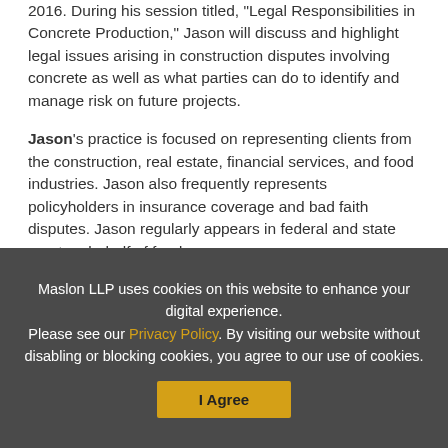2016. During his session titled, "Legal Responsibilities in Concrete Production," Jason will discuss and highlight legal issues arising in construction disputes involving concrete as well as what parties can do to identify and manage risk on future projects.
Jason's practice is focused on representing clients from the construction, real estate, financial services, and food industries. Jason also frequently represents policyholders in insurance coverage and bad faith disputes. Jason regularly appears in federal and state court on behalf of food...
Maslon LLP uses cookies on this website to enhance your digital experience.
Please see our Privacy Policy. By visiting our website without disabling or blocking cookies, you agree to our use of cookies.
I Agree